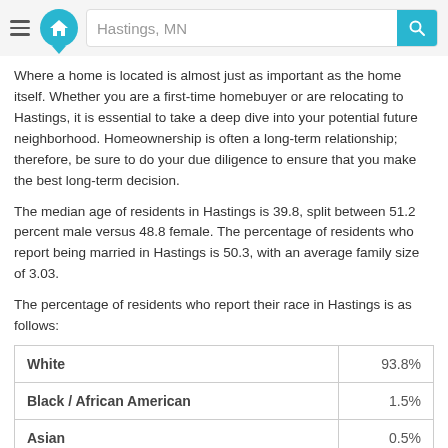Hastings, MN
Where a home is located is almost just as important as the home itself. Whether you are a first-time homebuyer or are relocating to Hastings, it is essential to take a deep dive into your potential future neighborhood. Homeownership is often a long-term relationship; therefore, be sure to do your due diligence to ensure that you make the best long-term decision.
The median age of residents in Hastings is 39.8, split between 51.2 percent male versus 48.8 female. The percentage of residents who report being married in Hastings is 50.3, with an average family size of 3.03.
The percentage of residents who report their race in Hastings is as follows:
| Race | Percentage |
| --- | --- |
| White | 93.8% |
| Black / African American | 1.5% |
| Asian | 0.5% |